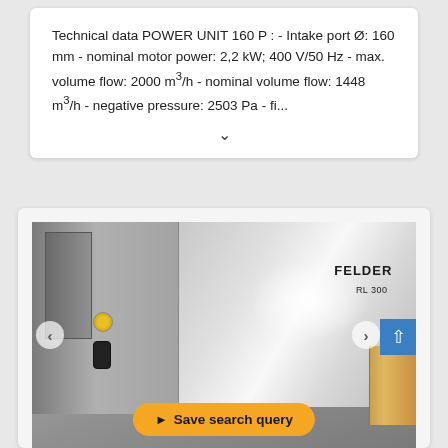Technical data POWER UNIT 160 P : - Intake port Ø: 160 mm - nominal motor power: 2,2 kW; 400 V/50 Hz - max. volume flow: 2000 m³/h - nominal volume flow: 1448 m³/h - negative pressure: 2503 Pa - fi...
[Figure (photo): Photo of a FELDER RL 300 industrial dust extraction unit / power unit. Large metallic cabinet-style machine with two main panels — a narrower left panel with a small door and controls, and a wider right main panel bearing the FELDER and RL 300 labels. A bright glare/reflection is visible on the right panel. A gold/brass colored pipe is visible on the far right. Navigation arrows (< >) are overlaid on the sides of the image. A blue scroll-to-top button appears at the right edge.]
Save search query